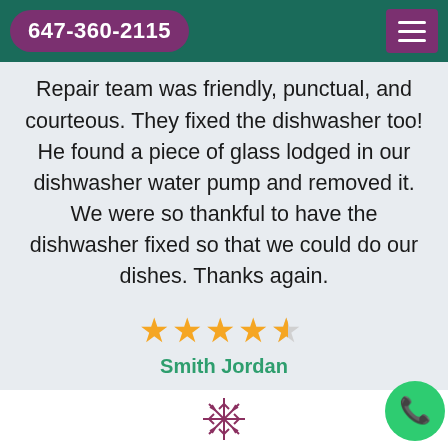647-360-2115
Repair team was friendly, punctual, and courteous. They fixed the dishwasher too! He found a piece of glass lodged in our dishwasher water pump and removed it. We were so thankful to have the dishwasher fixed so that we could do our dishes. Thanks again.
[Figure (other): 4.5 star rating shown with gold stars]
Smith Jordan
[Figure (other): Snowflake decorative icon at bottom of page]
[Figure (other): Green phone call button circle at bottom right]